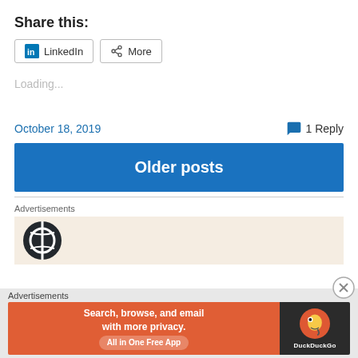Share this:
[Figure (other): Share buttons: LinkedIn and More]
Loading...
October 18, 2019
1 Reply
Older posts
Advertisements
[Figure (logo): WordPress logo on beige ad background]
Advertisements
[Figure (other): DuckDuckGo advertisement banner: Search, browse, and email with more privacy. All in One Free App]